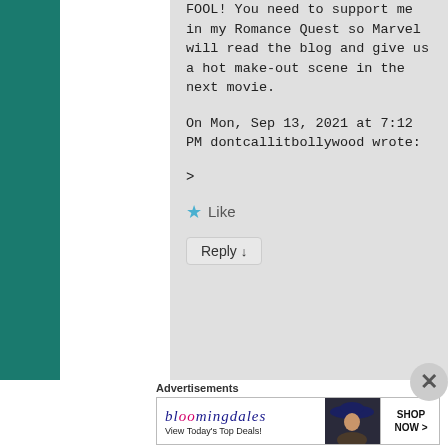FOOL! You need to support me in my Romance Quest so Marvel will read the blog and give us a hot make-out scene in the next movie.
On Mon, Sep 13, 2021 at 7:12 PM dontcallitbollywood wrote:
>
★ Like
Reply ↓
Advertisements
[Figure (other): Bloomingdales advertisement banner with logo text 'bloomingdales', tagline 'View Today's Top Deals!', image of woman in hat, and 'SHOP NOW >' button]